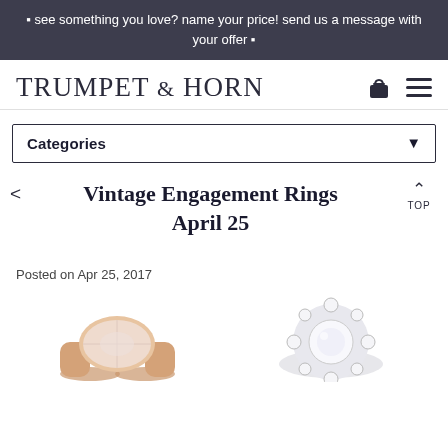🔷 see something you love? name your price! send us a message with your offer 🔷
TRUMPET & HORN
Categories
Vintage Engagement Rings April 25
Posted on Apr 25, 2017
[Figure (photo): Two vintage engagement rings displayed at the bottom of the page: a rose gold ring with a large oval stone on the left, and a platinum ring with a halo of diamonds on the right.]